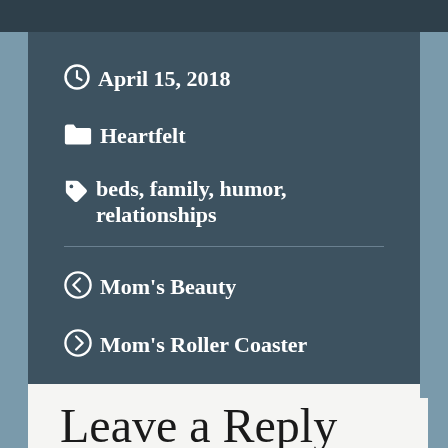April 15, 2018
Heartfelt
beds, family, humor, relationships
Mom's Beauty
Mom's Roller Coaster
Leave a Reply